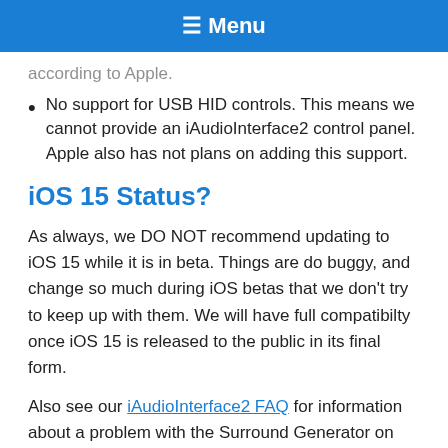☰ Menu
according to Apple.
No support for USB HID controls. This means we cannot provide an iAudioInterface2 control panel. Apple also has not plans on adding this support.
iOS 15 Status?
As always, we DO NOT recommend updating to iOS 15 while it is in beta. Things are do buggy, and change so much during iOS betas that we don't try to keep up with them. We will have full compatibilty once iOS 15 is released to the public in its final form.
Also see our iAudioInterface2 FAQ for information about a problem with the Surround Generator on iOS 13 with iAudioInterface2.